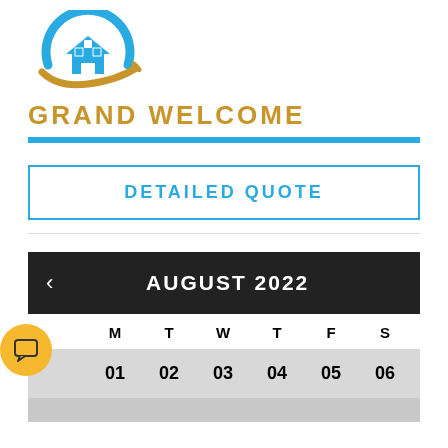[Figure (logo): Grand Welcome logo: house icon inside a blue circle arc with a golden swoosh/smile, above the text GRAND WELCOME in golden bold letters]
GRAND WELCOME
DETAILED QUOTE
[Figure (other): Calendar showing August 2022 with a left arrow navigation. Days row: M T W T F S. Dates row showing 01 02 03 04 05 06. A yellow chat button icon is on the left side.]